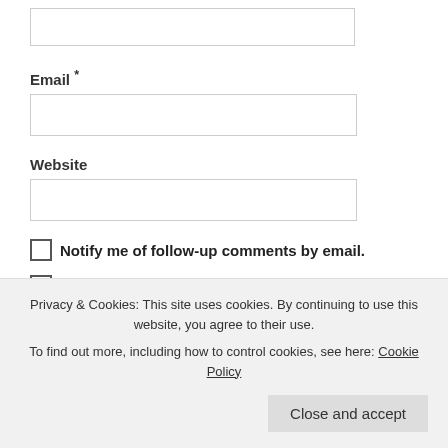[Figure (screenshot): Input field at top of page (partially visible, no label shown)]
Email *
[Figure (screenshot): Email input text field]
Website
[Figure (screenshot): Website input text field]
Notify me of follow-up comments by email.
Notify me of new posts by email.
POST COMMENT
Privacy & Cookies: This site uses cookies. By continuing to use this website, you agree to their use.
To find out more, including how to control cookies, see here: Cookie Policy
Close and accept